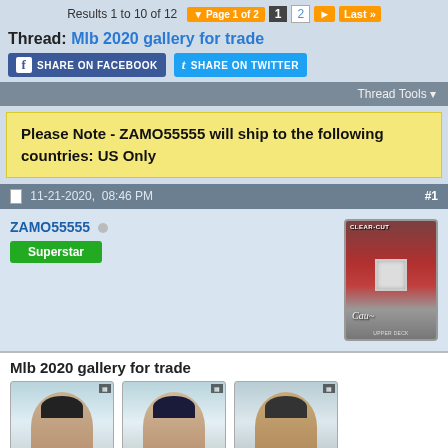Results 1 to 10 of 12  Page 1 of 2  1  2  Last
Thread: Mlb 2020 gallery for trade
[Figure (other): Share on Facebook and Share on Twitter social buttons]
Thread Tools
Please Note - ZAMO55555 will ship to the following countries: US Only
11-21-2020,  08:46 PM  #1
ZAMO55555
Superstar
[Figure (photo): Baseball trading card - Upper Deck Clear Cut autograph relic card with player signature]
Mlb 2020 gallery for trade
[Figure (photo): Three baseball trading card thumbnails showing player faces with caps]